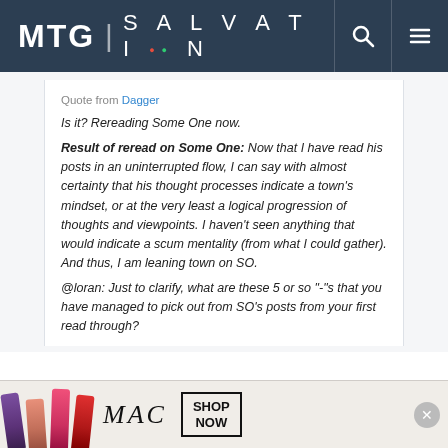MTG | SALVATION
Quote from Dagger

Is it? Rereading Some One now.
Result of reread on Some One: Now that I have read his posts in an uninterrupted flow, I can say with almost certainty that his thought processes indicate a town's mindset, or at the very least a logical progression of thoughts and viewpoints. I haven't seen anything that would indicate a scum mentality (from what I could gather). And thus, I am leaning town on SO.

@loran: Just to clarify, what are these 5 or so "-"s that you have managed to pick out from SO's posts from your first read through?
[Figure (photo): MAC cosmetics advertisement banner with lipsticks and SHOP NOW button]